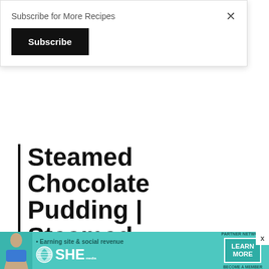Subscribe for More Recipes
Subscribe
Steamed Chocolate Pudding | Steamed Chocolate Pudding Recipe
Steamed chocolate pudding makes a great center piece for any christmas parties. Serve it with custard or ice
[Figure (screenshot): Advertisement banner for SHE Media Partner Network. Teal background with woman silhouette, tagline 'Earning site & social revenue', SHE logo, LEARN MORE button, BECOME A MEMBER text.]